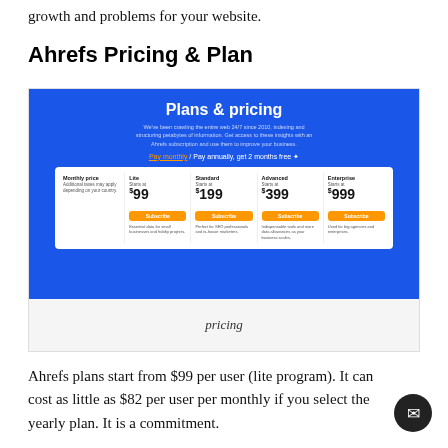growth and problems for your website.
Ahrefs Pricing & Plan
[Figure (screenshot): Screenshot of Ahrefs Plans & pricing page showing monthly pricing for Lite ($99), Standard ($199), Advanced ($399), and Enterprise ($999) plans with orange Subscribe buttons on a blue background, followed by a gray area with italic caption 'pricing'.]
pricing
Ahrefs plans start from $99 per user (lite program). It can cost as little as $82 per user per monthly if you select the yearly plan. It is a commitment.